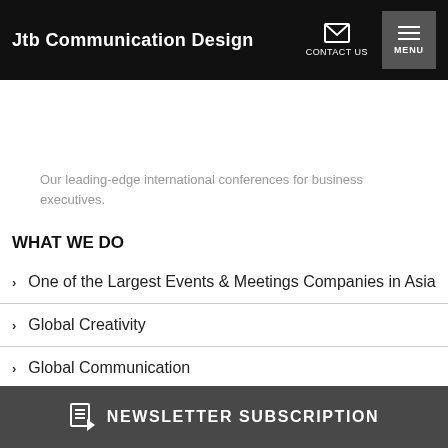Jtb Communication Design | CONTACT US | MENU
Our leading-edge international conferences for business executives.
WHAT WE DO
One of the Largest Events & Meetings Companies in Asia
Global Creativity
Global Communication
ABOUT US
Why JTB Communication Design
NEWSLETTER SUBSCRIPTION